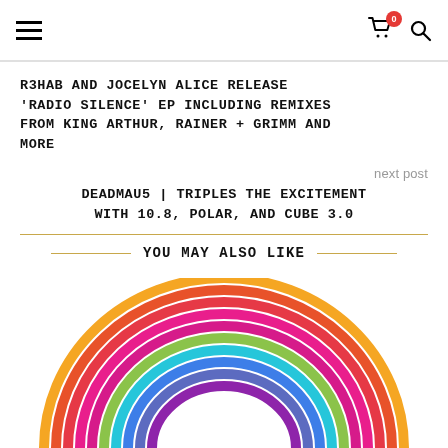Navigation header with hamburger menu, cart icon (badge: 0), and search icon
R3HAB AND JOCELYN ALICE RELEASE 'RADIO SILENCE' EP INCLUDING REMIXES FROM KING ARTHUR, RAINER + GRIMM AND MORE
next post
DEADMAU5 | TRIPLES THE EXCITEMENT WITH 10.8, POLAR, AND CUBE 3.0
YOU MAY ALSO LIKE
[Figure (illustration): Colorful rainbow arc illustration with multiple concentric arcs in pink, magenta, red, orange, gold, green, teal, blue, purple gradient colors, cropped at bottom of page]